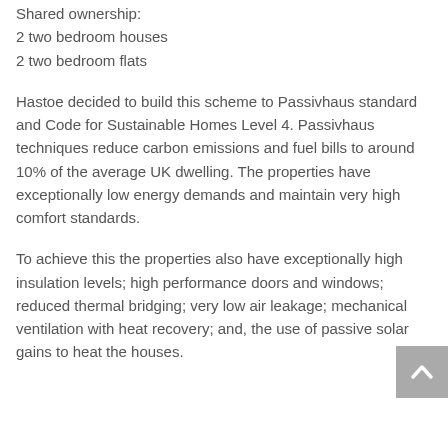Shared ownership:
2 two bedroom houses
2 two bedroom flats
Hastoe decided to build this scheme to Passivhaus standard and Code for Sustainable Homes Level 4. Passivhaus techniques reduce carbon emissions and fuel bills to around 10% of the average UK dwelling. The properties have exceptionally low energy demands and maintain very high comfort standards.
To achieve this the properties also have exceptionally high insulation levels; high performance doors and windows; reduced thermal bridging; very low air leakage; mechanical ventilation with heat recovery; and, the use of passive solar gains to heat the houses.